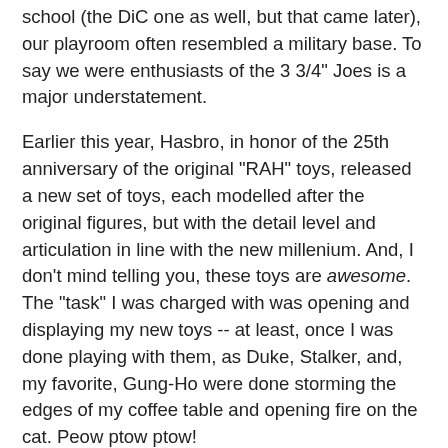school (the DiC one as well, but that came later), our playroom often resembled a military base. To say we were enthusiasts of the 3 3/4" Joes is a major understatement.
Earlier this year, Hasbro, in honor of the 25th anniversary of the original "RAH" toys, released a new set of toys, each modelled after the original figures, but with the detail level and articulation in line with the new millenium. And, I don't mind telling you, these toys are awesome. The "task" I was charged with was opening and displaying my new toys -- at least, once I was done playing with them, as Duke, Stalker, and, my favorite, Gung-Ho were done storming the edges of my coffee table and opening fire on the cat. Peow ptow ptow!
I would be remiss not to talk about Larry Hama, and the Marvel comic book series (the subject of the post!). Before the cartoon series started, the comic was already solidified and creating the world of the Joe team. Hama concieved the series as a mainstream Marvel title, to be called Fury Force -- the concept being that the son of Nick Fury would lead an elite squad of counter-terrorists against HYDRA. The concept morphed into the familiar Joe-vs-Cobra battle, and